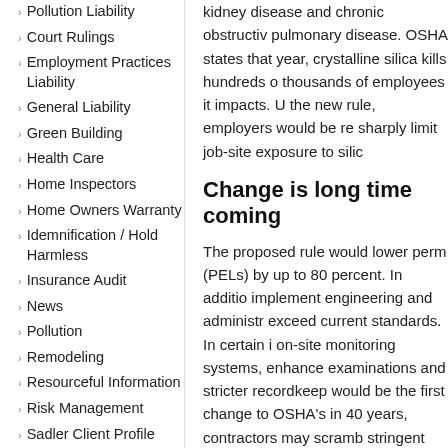Pollution Liability
Court Rulings
Employment Practices Liability
General Liability
Green Building
Health Care
Home Inspectors
Home Owners Warranty
Idemnification / Hold Harmless
Insurance Audit
News
Pollution
Remodeling
Resourceful Information
Risk Management
Sadler Client Profile
kidney disease and chronic obstructive pulmonary disease. OSHA states that year, crystalline silica kills hundreds of thousands of employees it impacts. Under the new rule, employers would be required to sharply limit job-site exposure to silica.
Change is long time coming
The proposed rule would lower permissible exposure limits (PELs) by up to 80 percent. In addition, employers would implement engineering and administrative controls that exceed current standards. In certain industries, on-site monitoring systems, enhanced medical examinations and stricter recordkeeping would be the first change to OSHA's standards in 40 years, contractors may scramble to meet more stringent protocols.